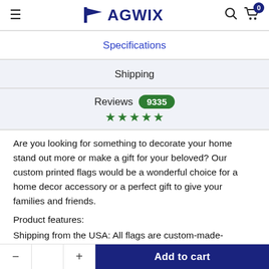FLAGWIX
Specifications
Shipping
Reviews 9335 ★★★★★
Are you looking for something to decorate your home stand out more or make a gift for your beloved? Our custom printed flags would be a wonderful choice for a home decor accessory or a perfect gift to give your families and friends.
Product features:
Shipping from the USA: All flags are custom-made-